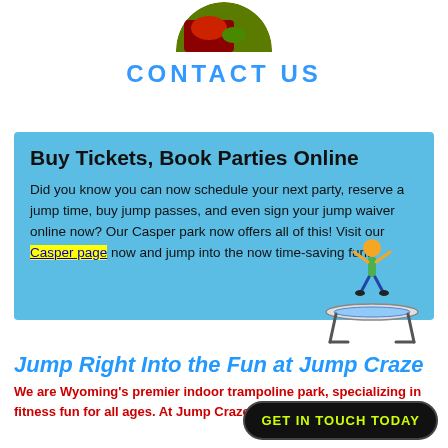[Figure (photo): Partial circular photo showing red and green colors, cropped at top of page]
CONTACT US
Buy Tickets, Book Parties Online
Did you know you can now schedule your next party, reserve a jump time, buy jump passes, and even sign your jump waiver online now? Our Casper park now offers all of this! Visit our Casper page now and jump into the now time-saving fun!
[Figure (illustration): Cartoon illustration of a person jumping on a trampoline]
Jump Right Into the Fun at Jump Craze
We are Wyoming's premier indoor trampoline park, specializing in fitness fun for all ages. At Jump Craze, you can jump on a tramp...
GET IN TOUCH TODAY